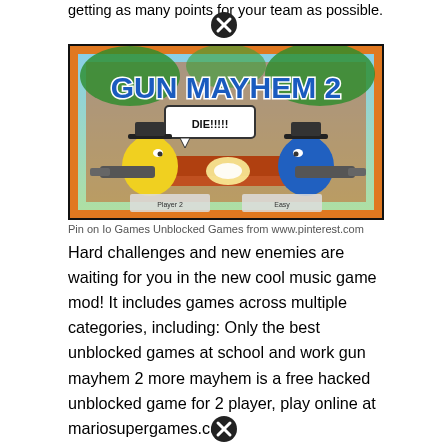getting as many points for your team as possible.
[Figure (screenshot): Gun Mayhem 2 game screenshot showing two cartoon characters with guns facing each other. A yellow character with a black hat on the left and a blue character with a black hat on the right. A speech bubble says 'DIE!!!!!' in the center. The game title 'GUN MAYHEM 2' is displayed at the top in large blue letters. Background is a jungle/brick platform level.]
Pin on Io Games Unblocked Games from www.pinterest.com
Hard challenges and new enemies are waiting for you in the new cool music game mod! It includes games across multiple categories, including: Only the best unblocked games at school and work gun mayhem 2 more mayhem is a free hacked unblocked game for 2 player, play online at mariosupergames.com.